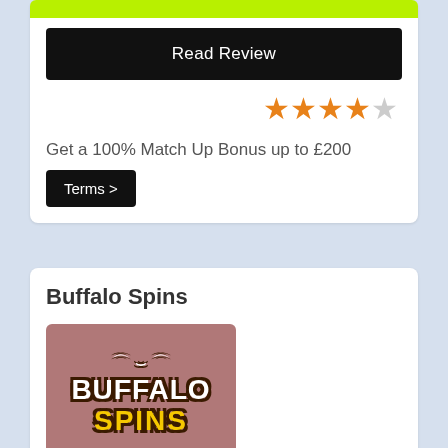[Figure (screenshot): Green decorative bar at top of casino card]
Read Review
[Figure (other): 4 out of 5 star rating with orange filled stars and one grey empty star]
Get a 100% Match Up Bonus up to £200
Terms >
Buffalo Spins
[Figure (logo): Buffalo Spins casino logo on mauve/pink background with white text BUFFALO and gold text SPINS with dark outline and bull horn decoration]